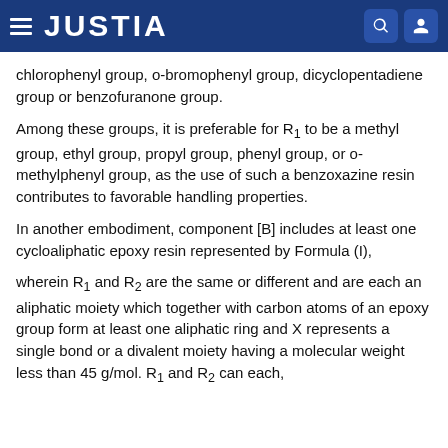JUSTIA
chlorophenyl group, o-bromophenyl group, dicyclopentadiene group or benzofuranone group.
Among these groups, it is preferable for R₁ to be a methyl group, ethyl group, propyl group, phenyl group, or o-methylphenyl group, as the use of such a benzoxazine resin contributes to favorable handling properties.
In another embodiment, component [B] includes at least one cycloaliphatic epoxy resin represented by Formula (I),
wherein R₁ and R₂ are the same or different and are each an aliphatic moiety which together with carbon atoms of an epoxy group form at least one aliphatic ring and X represents a single bond or a divalent moiety having a molecular weight less than 45 g/mol. R₁ and R₂ can each,